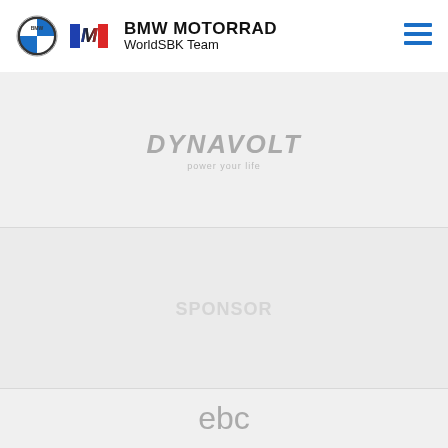[Figure (logo): BMW Motorrad WorldSBK Team header logo with BMW roundel, M logo, and text 'BMW MOTORRAD WorldSBK Team' plus hamburger menu icon]
[Figure (logo): Dynavolt logo in italic gray text with tagline 'power your life']
[Figure (logo): Faded/partially visible sponsor logo in middle section]
[Figure (logo): EBC Group logo with 'ebc' text in gray and colored squares (blue, green, orange, yellow) with 'group' text below]